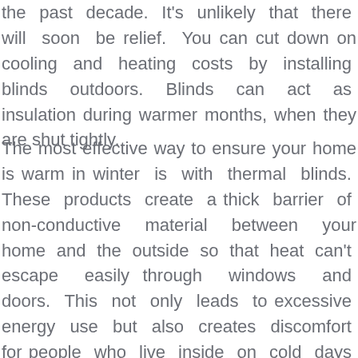the past decade. It's unlikely that there will soon be relief. You can cut down on cooling and heating costs by installing blinds outdoors. Blinds can act as insulation during warmer months, when they are shut tightly.
The most effective way to ensure your home is warm in winter is with thermal blinds. These products create a thick barrier of non-conductive material between your home and the outside so that heat can't escape easily through windows and doors. This not only leads to excessive energy use but also creates discomfort for people who live inside on cold days because they're constantly going from hot , cozy indoors to cold temperatures outdoors without any possibility of